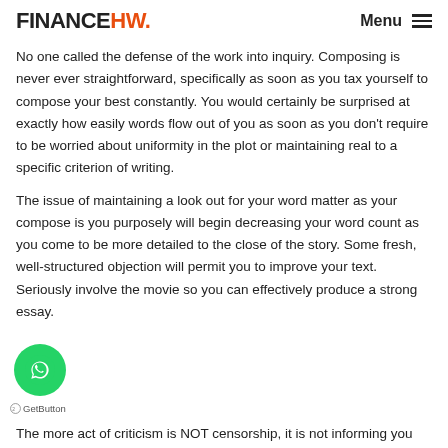FINANCEHW. Menu
No one called the defense of the work into inquiry. Composing is never ever straightforward, specifically as soon as you tax yourself to compose your best constantly. You would certainly be surprised at exactly how easily words flow out of you as soon as you don't require to be worried about uniformity in the plot or maintaining real to a specific criterion of writing.
The issue of maintaining a look out for your word matter as your compose is you purposely will begin decreasing your word count as you come to be more detailed to the close of the story. Some fresh, well-structured objection will permit you to improve your text. Seriously involve the movie so you can effectively produce a strong essay.
The more act of criticism is NOT censorship, it is not informing you